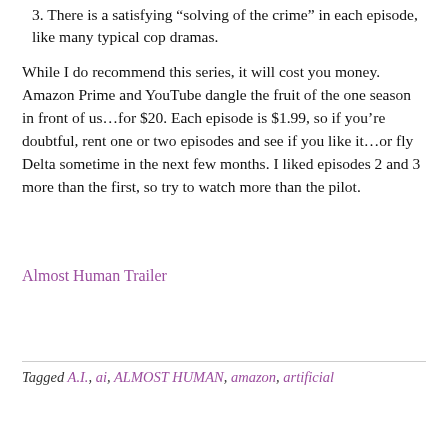3. There is a satisfying “solving of the crime” in each episode, like many typical cop dramas.
While I do recommend this series, it will cost you money. Amazon Prime and YouTube dangle the fruit of the one season in front of us…for $20. Each episode is $1.99, so if you’re doubtful, rent one or two episodes and see if you like it…or fly Delta sometime in the next few months. I liked episodes 2 and 3 more than the first, so try to watch more than the pilot.
Almost Human Trailer
Tagged A.I., ai, ALMOST HUMAN, amazon, artificial